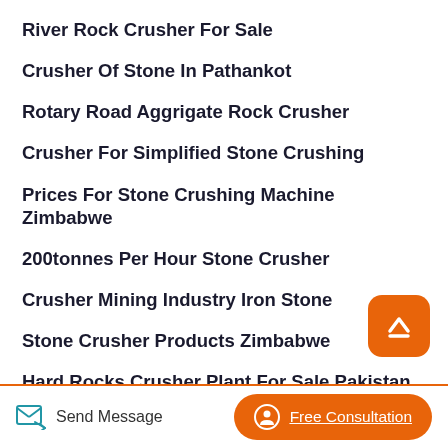River Rock Crusher For Sale
Crusher Of Stone In Pathankot
Rotary Road Aggrigate Rock Crusher
Crusher For Simplified Stone Crushing
Prices For Stone Crushing Machine Zimbabwe
200tonnes Per Hour Stone Crusher
Crusher Mining Industry Iron Stone
Stone Crusher Products Zimbabwe
Hard Rocks Crusher Plant For Sale Pakistan
Send Message  Free Consultation